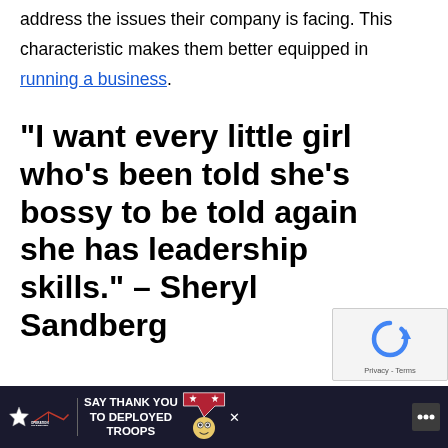address the issues their company is facing. This characteristic makes them better equipped in running a business.
“I want every little girl who’s been told she’s bossy to be told again she has leadership skills.” – Sheryl Sandberg
[Figure (other): reCAPTCHA widget with Privacy and Terms links]
[Figure (other): Advertisement banner for Operation Gratitude: SAY THANK YOU TO DEPLOYED TROOPS with cartoon owl and patriotic imagery]